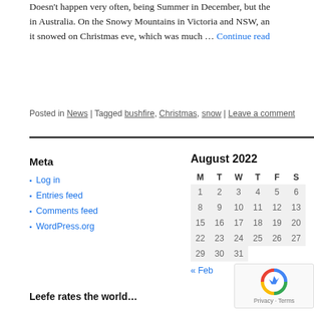Doesn't happen very often, being Summer in December, but the in Australia. On the Snowy Mountains in Victoria and NSW, and it snowed on Christmas eve, which was much … Continue reading
Posted in News | Tagged bushfire, Christmas, snow | Leave a comment
Meta
Log in
Entries feed
Comments feed
WordPress.org
| M | T | W | T | F | S |
| --- | --- | --- | --- | --- | --- |
| 1 | 2 | 3 | 4 | 5 | 6 |
| 8 | 9 | 10 | 11 | 12 | 13 |
| 15 | 16 | 17 | 18 | 19 | 20 |
| 22 | 23 | 24 | 25 | 26 | 27 |
| 29 | 30 | 31 |  |  |  |
« Feb
Leefe rates the world…